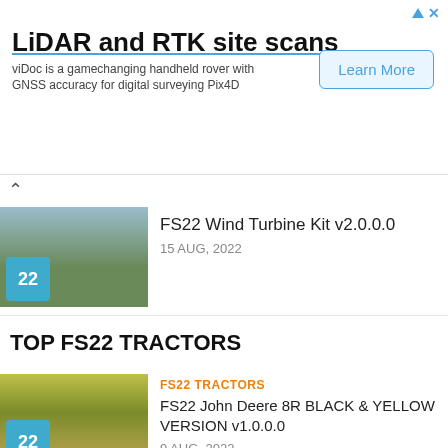[Figure (other): Advertisement banner: LiDAR and RTK site scans. viDoc is a gamechanging handheld rover with GNSS accuracy for digital surveying Pix4D. Learn More button.]
[Figure (photo): Thumbnail image of wind turbine kit FS22 mod with FS22 badge]
FS22 Wind Turbine Kit v2.0.0.0
15 AUG, 2022
TOP FS22 TRACTORS
[Figure (photo): Thumbnail image of John Deere 8R black and yellow tractor with FS22 badge]
FS22 TRACTORS
FS22 John Deere 8R BLACK & YELLOW VERSION v1.0.0.0
9 AUG, 2022
[Figure (photo): Thumbnail image of Erkunt series tractor with FS22 badge]
FS22 TRACTORS
FS22 ERKUNT SERIES v1.0.0.0
21 JUL, 2022